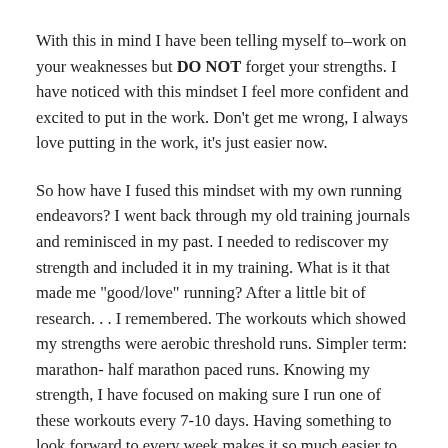With this in mind I have been telling myself to–work on your weaknesses but DO NOT forget your strengths. I have noticed with this mindset I feel more confident and excited to put in the work. Don't get me wrong, I always love putting in the work, it's just easier now.
So how have I fused this mindset with my own running endeavors? I went back through my old training journals and reminisced in my past. I needed to rediscover my strength and included it in my training. What is it that made me "good/love" running? After a little bit of research. . . I remembered. The workouts which showed my strengths were aerobic threshold runs. Simpler term: marathon- half marathon paced runs. Knowing my strength, I have focused on making sure I run one of these workouts every 7-10 days. Having something to look forward to every week makes it so much easier to do the hard stuff and the little things which I need to